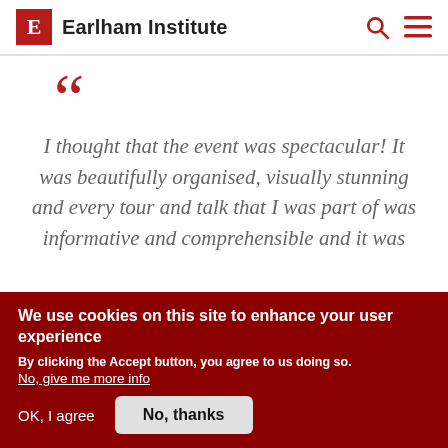Earlham Institute
I thought that the event was spectacular! It was beautifully organised, visually stunning and every tour and talk that I was part of was informative and comprehensible and it was
We use cookies on this site to enhance your user experience
By clicking the Accept button, you agree to us doing so.
No, give me more info
OK, I agree
No, thanks